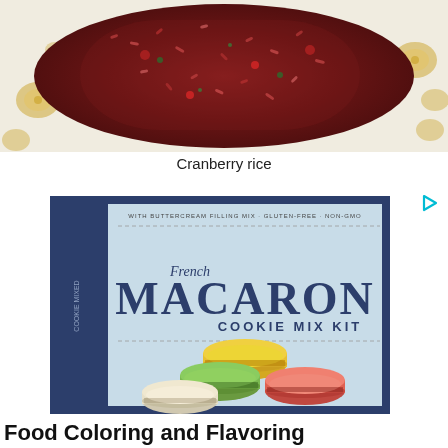[Figure (photo): Close-up photo of cranberry rice dish on a decorative plate with gold floral pattern]
Cranberry rice
[Figure (photo): French Macaron Cookie Mix Kit box with colorful macarons displayed on cover]
Food Coloring and Flavoring